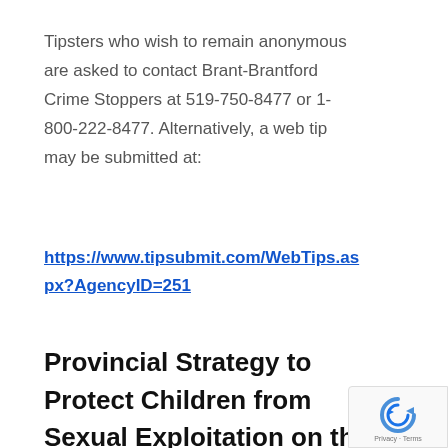Tipsters who wish to remain anonymous are asked to contact Brant-Brantford Crime Stoppers at 519-750-8477 or 1-800-222-8477. Alternatively, a web tip may be submitted at:
https://www.tipsubmit.com/WebTips.aspx?AgencyID=251
Provincial Strategy to Protect Children from Sexual Exploitation on the Internet